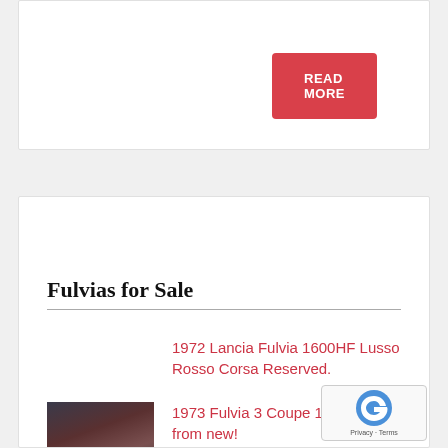READ MORE
Fulvias for Sale
1972 Lancia Fulvia 1600HF Lusso Rosso Corsa Reserved.
1973 Fulvia 3 Coupe 18000 miles from new! £26950
1975 Alfa Romeo Alfetta 1600 Berlina Sold
Early Series 3 Fulvia Coupe 1300 Sold